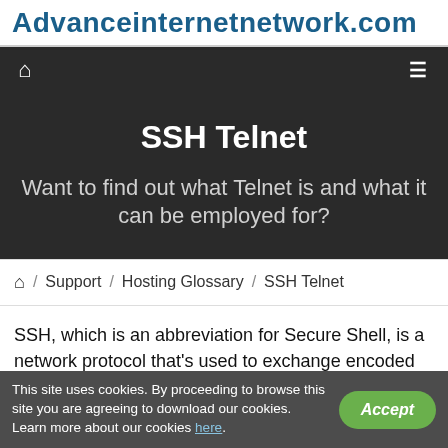Advanceinternetnetwork.com
SSH Telnet
Want to find out what Telnet is and what it can be employed for?
🏠 / Support / Hosting Glossary / SSH Telnet
SSH, which is an abbreviation for Secure Shell, is a network protocol that's used to exchange encoded info between a client
This site uses cookies. By proceeding to browse this site you are agreeing to download our cookies. Learn more about our cookies here.